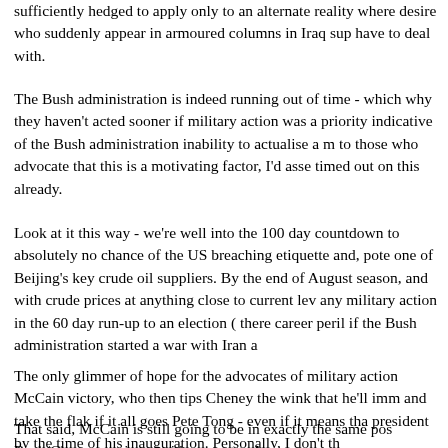sufficiently hedged to apply only to an alternate reality where desire who suddenly appear in armoured columns in Iraq sup have to deal with.
The Bush administration is indeed running out of time - which why they haven't acted sooner if military action was a priority indicative of the Bush administration inability to actualise a m to those who advocate that this is a motivating factor, I'd asse timed out on this already.
Look at it this way - we're well into the 100 day countdown to absolutely no chance of the US breaching etiquette and, pote one of Beijing's key crude oil suppliers. By the end of August season, and with crude prices at anything close to current lev any military action in the 60 day run-up to an election ( there career peril if the Bush administration started a war with Iran a
The only glimmer of hope for the advocates of military action McCain victory, who then tips Cheney the wink that he'll imm and take the flak if it all goes Pete Tong - even if it means tha president by the time of his inauguration. Personally, I don't th
That said, McCain is still going to be in exactly the same pos Bush/Cheney are in no with respect to Iran now.